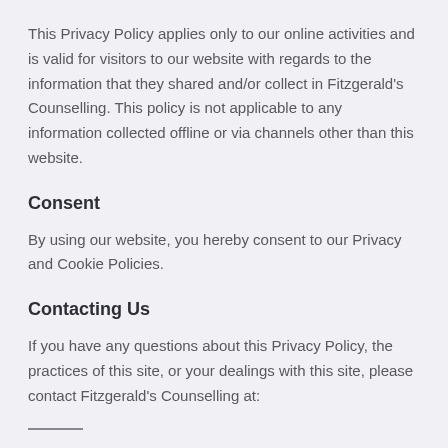This Privacy Policy applies only to our online activities and is valid for visitors to our website with regards to the information that they shared and/or collect in Fitzgerald's Counselling. This policy is not applicable to any information collected offline or via channels other than this website.
Consent
By using our website, you hereby consent to our Privacy and Cookie Policies.
Contacting Us
If you have any questions about this Privacy Policy, the practices of this site, or your dealings with this site, please contact Fitzgerald's Counselling at: